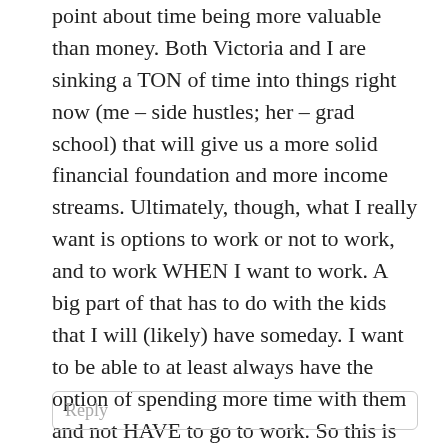point about time being more valuable than money. Both Victoria and I are sinking a TON of time into things right now (me – side hustles; her – grad school) that will give us a more solid financial foundation and more income streams. Ultimately, though, what I really want is options to work or not to work, and to work WHEN I want to work. A big part of that has to do with the kids that I will (likely) have someday. I want to be able to at least always have the option of spending more time with them and not HAVE to go to work. So this is all great advice and I think I'm on the right path, but I won't really know until I have kids ☺
Reply